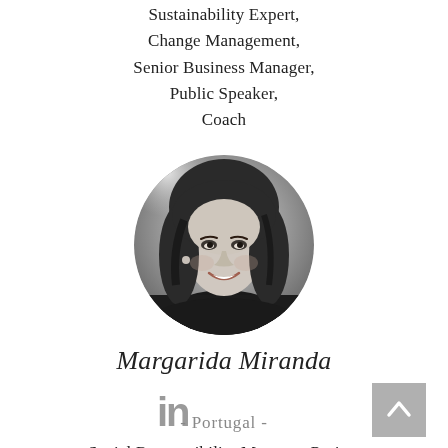Sustainability Expert, Change Management, Senior Business Manager, Public Speaker, Coach
[Figure (photo): Black and white circular portrait photo of Margarida Miranda, a woman with long dark hair, smiling]
Margarida Miranda
[Figure (logo): LinkedIn icon (in)]
- Portugal -
Social Responsibility Manager, Project Coordinator, Event Planner, Change